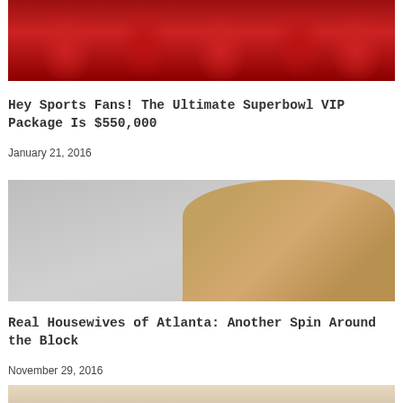[Figure (photo): Photo of red stadium seats viewed from above]
Hey Sports Fans! The Ultimate Superbowl VIP Package Is $550,000
January 21, 2016
[Figure (photo): Photo of a woman with blonde highlights smiling against a light grey background]
Real Housewives of Atlanta: Another Spin Around the Block
November 29, 2016
[Figure (photo): Partial photo of a person, cropped at bottom of page]